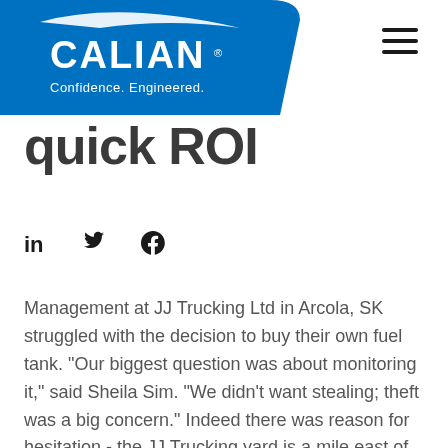[Figure (logo): Calian logo on blue diagonal shape with tagline 'Confidence. Engineered.']
quick ROI
[Figure (other): Social share icons: LinkedIn, Twitter, Facebook]
Management at JJ Trucking Ltd in Arcola, SK struggled with the decision to buy their own fuel tank. “Our biggest question was about monitoring it,” said Sheila Sim. “We didn’t want stealing; theft was a big concern.” Indeed there was reason for hesitation - the JJ Trucking yard is a mile east of